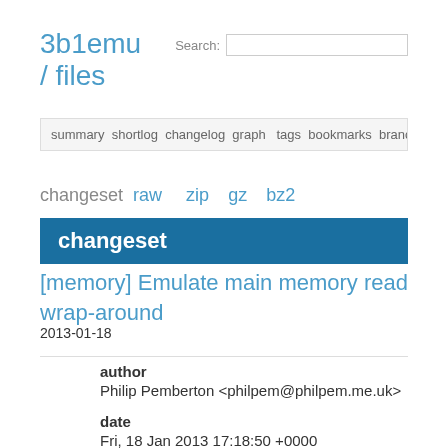3b1emu / files
summary shortlog changelog graph tags bookmarks branches files preview h…
changeset  raw  zip  gz  bz2
changeset
[memory] Emulate main memory read wrap-around
2013-01-18
author
Philip Pemberton <philpem@philpem.me.uk>
date
Fri, 18 Jan 2013 17:18:50 +0000